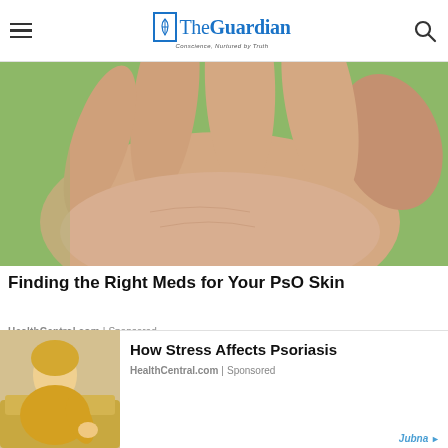The Guardian
[Figure (photo): Close-up of a human hand/palm with fingers spread against a green background, skin texture visible]
Finding the Right Meds for Your PsO Skin
HealthCentral.com | Sponsored
[Figure (photo): Two people outdoors with green field background, partially obscured]
[Figure (photo): Blonde woman in yellow sweater sitting on couch, looking at her arm/skin]
How Stress Affects Psoriasis
HealthCentral.com | Sponsored
Jubna